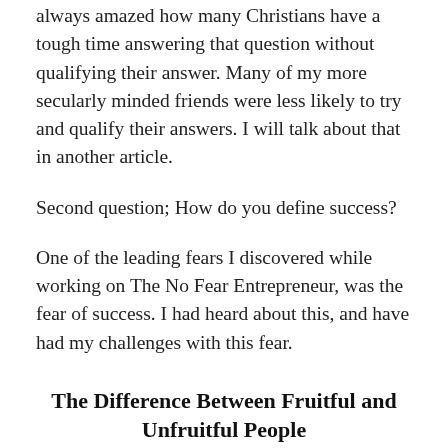always amazed how many Christians have a tough time answering that question without qualifying their answer. Many of my more secularly minded friends were less likely to try and qualify their answers. I will talk about that in another article.
Second question; How do you define success?
One of the leading fears I discovered while working on The No Fear Entrepreneur, was the fear of success. I had heard about this, and have had my challenges with this fear.
The Difference Between Fruitful and Unfruitful People
One of the significant differences between people